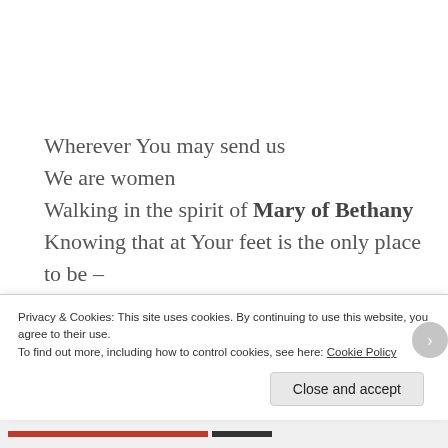Wherever You may send us
We are women
Walking in the spirit of Mary of Bethany
Knowing that at Your feet is the only place to be –
The place of costly discipleship
And of Martha, with the courage to
Cast aside old wineskins to discover
Privacy & Cookies: This site uses cookies. By continuing to use this website, you agree to their use.
To find out more, including how to control cookies, see here: Cookie Policy
Close and accept